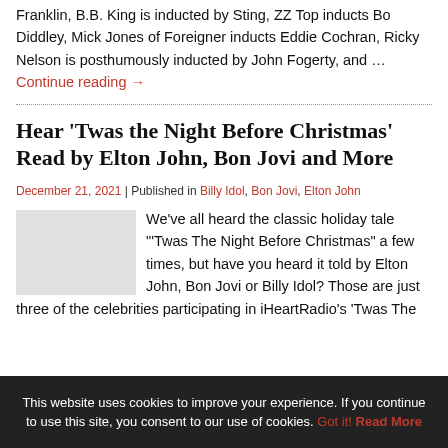Franklin, B.B. King is inducted by Sting, ZZ Top inducts Bo Diddley, Mick Jones of Foreigner inducts Eddie Cochran, Ricky Nelson is posthumously inducted by John Fogerty, and … Continue reading →
Hear 'Twas the Night Before Christmas' Read by Elton John, Bon Jovi and More
December 21, 2021 | Published in Billy Idol, Bon Jovi, Elton John
We've all heard the classic holiday tale "'Twas The Night Before Christmas" a few times, but have you heard it told by Elton John, Bon Jovi or Billy Idol? Those are just three of the celebrities participating in iHeartRadio's 'Twas The
This website uses cookies to improve your experience. If you continue to use this site, you consent to our use of cookies. Got it! Read More